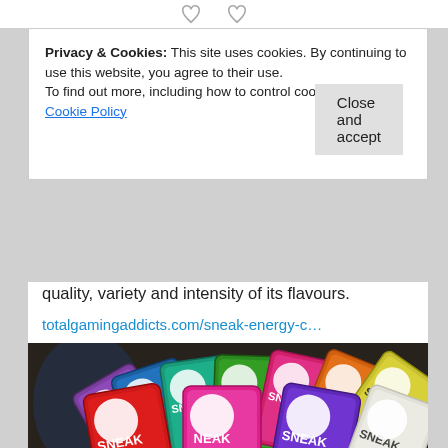[Figure (other): Heart/like icons at top of social media post]
Privacy & Cookies: This site uses cookies. By continuing to use this website, you agree to their use.
To find out more, including how to control cookies, see here: Cookie Policy
Close and accept
quality, variety and intensity of its flavours.
totalgamingaddicts.com/sneak-energy-c…
[Figure (photo): Multiple colorful Sneak Energy drink powder sachets fanned out on a dark wooden surface, each featuring the Sneak rabbit logo]
totalgamingaddicts.com
Sneak Energy: Clean, Guilt-Free Gamer Energy - Total Gaming Addicts